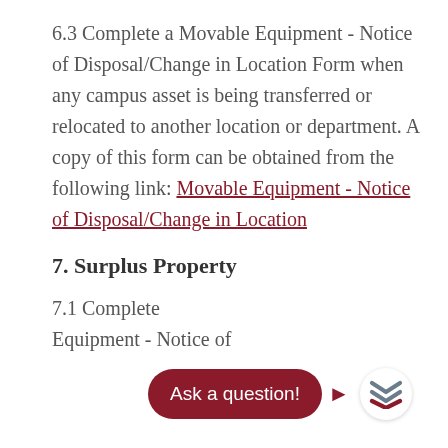6.3 Complete a Movable Equipment - Notice of Disposal/Change in Location Form when any campus asset is being transferred or relocated to another location or department. A copy of this form can be obtained from the following link: Movable Equipment - Notice of Disposal/Change in Location
7. Surplus Property
7.1 Complete [Ask a question!] Equipment - Notice of